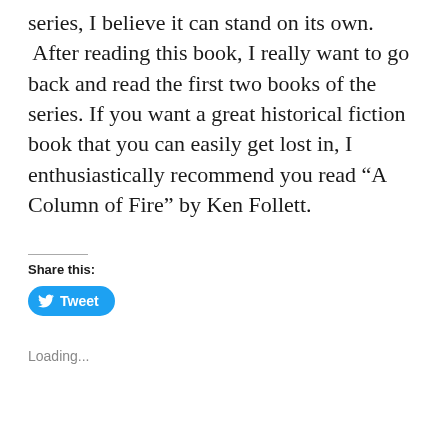series, I believe it can stand on its own. After reading this book, I really want to go back and read the first two books of the series. If you want a great historical fiction book that you can easily get lost in, I enthusiastically recommend you read “A Column of Fire” by Ken Follett.
Share this:
[Figure (other): Twitter Tweet button — a blue rounded-rectangle button with Twitter bird icon and the label 'Tweet']
Loading...